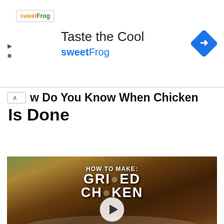[Figure (screenshot): Advertisement banner for sweetFrog with 'Taste the Cool' headline and blue diamond navigation icon]
How Do You Know When Chicken Is Done
[Figure (screenshot): Video thumbnail showing grilled chicken on a white plate with overlay text 'HOW TO MAKE: GRILLED CHICKEN' and a play button in the center]
The best way to tell that chicken is done is by using a cooking thermometer. You want to insert the probe of the